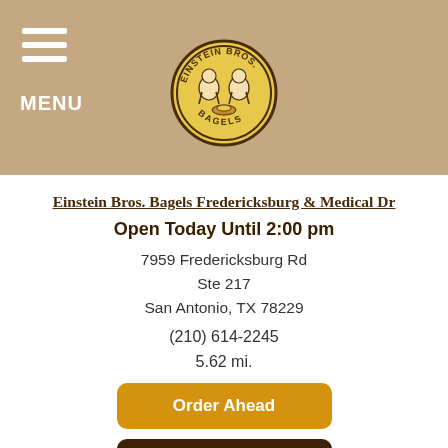MENU
Einstein Bros. Bagels Fredericksburg & Medical Dr
Open Today Until 2:00 pm
7959 Fredericksburg Rd
Ste 217
San Antonio, TX 78229
(210) 614-2245
5.62 mi.
Order Ahead
Catering
Get Directions
Einstein Bros. Bagels Trinity Univ...